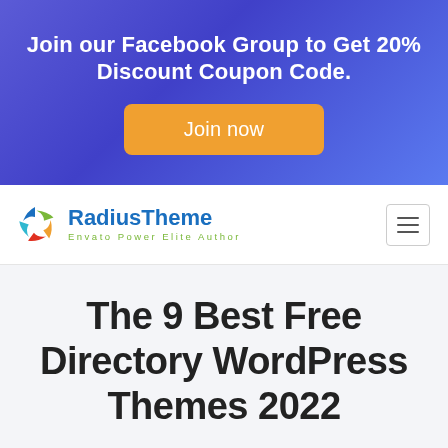Join our Facebook Group to Get 20% Discount Coupon Code.
Join now
[Figure (logo): RadiusTheme logo with colorful swirl icon and text 'RadiusTheme / Envato Power Elite Author']
The 9 Best Free Directory WordPress Themes 2022